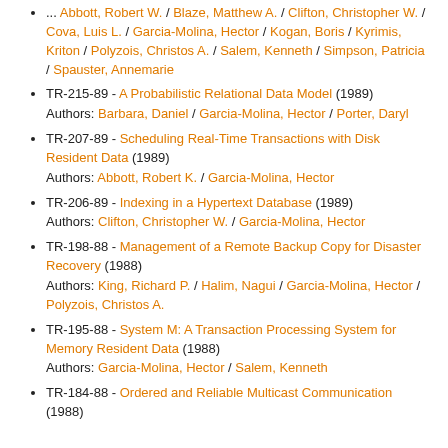Authors: Abbott, Robert W. / Blaze, Matthew A. / Clifton, Christopher W. / Cova, Luis L. / Garcia-Molina, Hector / Kogan, Boris / Kyrimis, Kriton / Polyzois, Christos A. / Salem, Kenneth / Simpson, Patricia / Spauster, Annemarie
TR-215-89 - A Probabilistic Relational Data Model (1989)
Authors: Barbara, Daniel / Garcia-Molina, Hector / Porter, Daryl
TR-207-89 - Scheduling Real-Time Transactions with Disk Resident Data (1989)
Authors: Abbott, Robert K. / Garcia-Molina, Hector
TR-206-89 - Indexing in a Hypertext Database (1989)
Authors: Clifton, Christopher W. / Garcia-Molina, Hector
TR-198-88 - Management of a Remote Backup Copy for Disaster Recovery (1988)
Authors: King, Richard P. / Halim, Nagui / Garcia-Molina, Hector / Polyzois, Christos A.
TR-195-88 - System M: A Transaction Processing System for Memory Resident Data (1988)
Authors: Garcia-Molina, Hector / Salem, Kenneth
TR-184-88 - Ordered and Reliable Multicast Communication (1988)